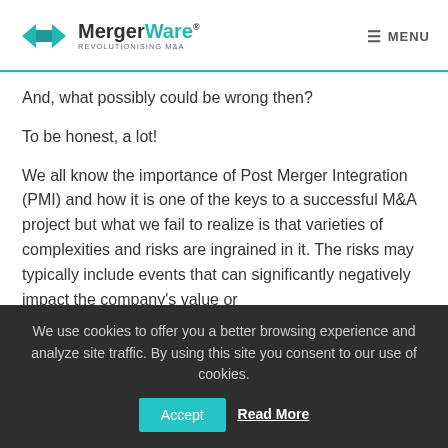MergerWare® Revolutionising M&A  MENU
And, what possibly could be wrong then?
To be honest, a lot!
We all know the importance of Post Merger Integration (PMI) and how it is one of the keys to a successful M&A project but what we fail to realize is that varieties of complexities and risks are ingrained in it. The risks may typically include events that can significantly negatively impact the company's value or
We use cookies to offer you a better browsing experience and analyze site traffic. By using this site you consent to our use of cookies.  Accept  Read More